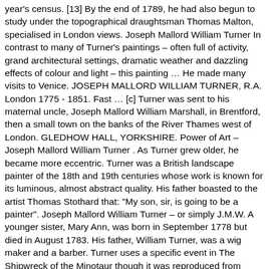year's census. [13] By the end of 1789, he had also begun to study under the topographical draughtsman Thomas Malton, specialised in London views. Joseph Mallord William Turner In contrast to many of Turner's paintings – often full of activity, grand architectural settings, dramatic weather and dazzling effects of colour and light – this painting … He made many visits to Venice. JOSEPH MALLORD WILLIAM TURNER, R.A. London 1775 - 1851. Fast … [c] Turner was sent to his maternal uncle, Joseph Mallord William Marshall, in Brentford, then a small town on the banks of the River Thames west of London. GLEDHOW HALL, YORKSHIRE. Power of Art – Joseph Mallord William Turner . As Turner grew older, he became more eccentric. Turner was a British landscape painter of the 18th and 19th centuries whose work is known for its luminous, almost abstract quality. His father boasted to the artist Thomas Stothard that: "My son, sir, is going to be a painter". Joseph Mallord William Turner – or simply J.M.W. A younger sister, Mary Ann, was born in September 1778 but died in August 1783. His father, William Turner, was a wig maker and a barber. Turner uses a specific event in The Shipwreck of the Minotaur though it was reproduced from sketches from a generic ship. Turner visited the battlefield, already a tourist attraction, in 1817. [21] and shows strong influence by artists such as Claude Joseph Vernet, Philip James de Loutherbourg, Peter Monamy and Francis Swaine, who was admired for his moonlight marine paintings. [29]. Turner died of cholera at the home